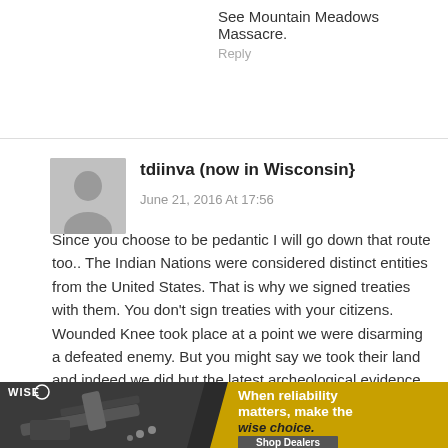See Mountain Meadows Massacre.
Reply
tdiinva (now in Wisconsin}
June 21, 2016 At 17:56
Since you choose to be pedantic I will go down that route too.. The Indian Nations were considered distinct entities from the United States. That is why we signed treaties with them. You don't sign treaties with your citizens. Wounded Knee took place at a point we were disarming a defeated enemy. But you might say we took their land and indeed we did but the latest archeological evidence says that the so-
[Figure (photo): Advertisement banner for WISE firearms/supplies. Shows a firearm (AR-style rifle) in dark/grayscale on the left. Yellow diagonal chevron on right side with text: 'When reliability matters, make the wise choice.' and 'Shop Dealers' button.]
as the
irst evidence
tive were
e related to